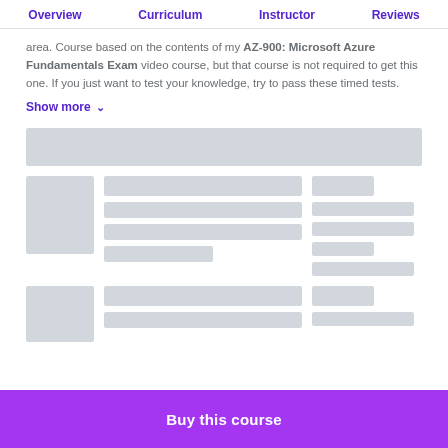Overview | Curriculum | Instructor | Reviews
area. Course based on the contents of my AZ-900: Microsoft Azure Fundamentals Exam video course, but that course is not required to get this one. If you just want to test your knowledge, try to pass these timed tests.
Show more
[Figure (screenshot): Loading skeleton placeholder showing grey blocks representing course content cards in a grid layout]
Buy this course